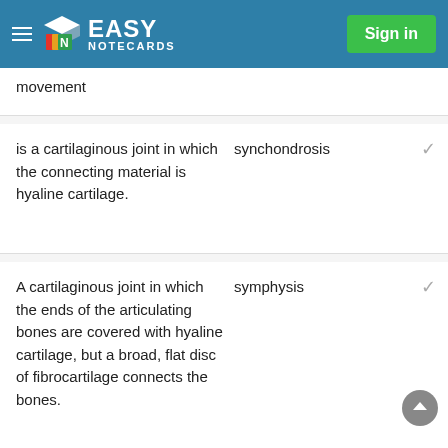EASY NOTECARDS | Sign in
movement
is a cartilaginous joint in which the connecting material is hyaline cartilage.
synchondrosis
A cartilaginous joint in which the ends of the articulating bones are covered with hyaline cartilage, but a broad, flat disc of fibrocartilage connects the bones.
symphysis